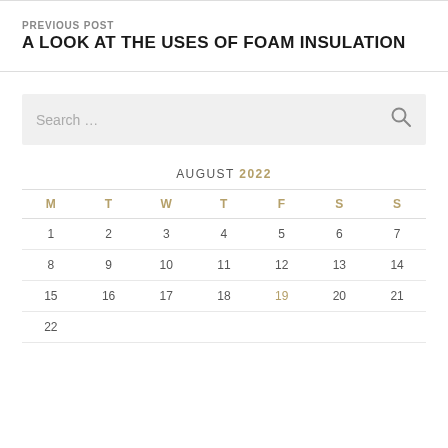PREVIOUS POST
A LOOK AT THE USES OF FOAM INSULATION
[Figure (other): Search input box with placeholder text 'Search ...' and a magnifying glass icon on the right]
| M | T | W | T | F | S | S |
| --- | --- | --- | --- | --- | --- | --- |
| 1 | 2 | 3 | 4 | 5 | 6 | 7 |
| 8 | 9 | 10 | 11 | 12 | 13 | 14 |
| 15 | 16 | 17 | 18 | 19 | 20 | 21 |
| 22 |  |  |  |  |  |  |